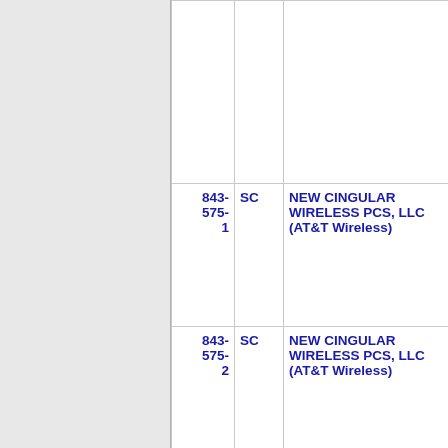| Number | State | Carrier Name | Code |  |
| --- | --- | --- | --- | --- |
|  |  |  |  |  |
| 843-575-1 | SC | NEW CINGULAR WIRELESS PCS, LLC (AT&T Wireless) | 6214 |  |
| 843-575-2 | SC | NEW CINGULAR WIRELESS PCS, LLC (AT&T Wireless) | 6214 |  |